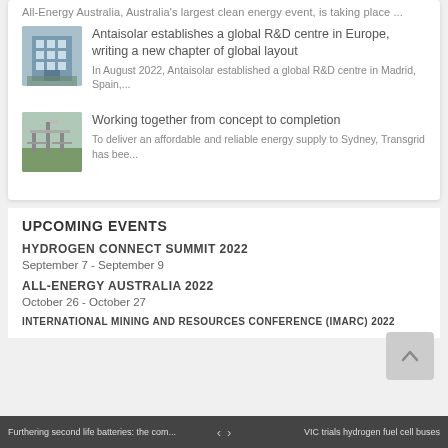All-Energy Australia, Australia's largest clean energy event, is taking place ...
[Figure (photo): Thumbnail image of a building (Antaisolar R&D centre)]
Antaisolar establishes a global R&D centre in Europe, writing a new chapter of global layout
In August 2022, Antaisolar established a global R&D centre in Madrid, Spain,...
[Figure (photo): Thumbnail image of energy infrastructure / grid]
Working together from concept to completion
To deliver an affordable and reliable energy supply to Sydney, Transgrid has bee...
UPCOMING EVENTS
HYDROGEN CONNECT SUMMIT 2022
September 7 - September 9
ALL-ENERGY AUSTRALIA 2022
October 26 - October 27
INTERNATIONAL MINING AND RESOURCES CONFERENCE (IMARC) 2022
Furthering second life batteries: the com... < > VIC trials hydrogen fuel cell buses